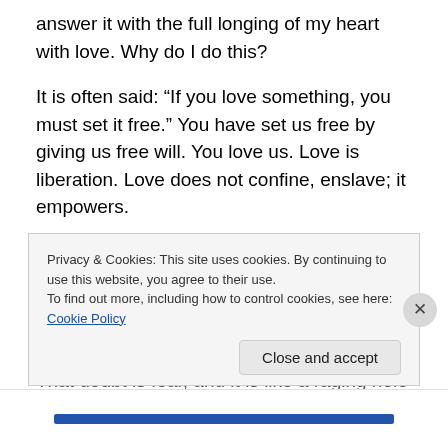answer it with the full longing of my heart with love. Why do I do this?
It is often said: “If you love something, you must set it free.” You have set us free by giving us free will. You love us. Love is liberation. Love does not confine, enslave; it empowers.
When I do not know myself, and how I have come from this loving thing, when I do not understand this freedom of choice that I have been given, then I am filled with doubt.
That doubt is fear, and it is like a raging hole inside of me
Privacy & Cookies: This site uses cookies. By continuing to use this website, you agree to their use.
To find out more, including how to control cookies, see here: Cookie Policy